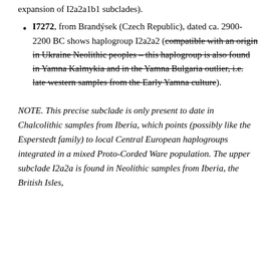expansion of I2a2a1b1 subclades).
I7272, from Brandýsek (Czech Republic), dated ca. 2900-2200 BC shows haplogroup I2a2a2 (compatible with an origin in Ukraine Neolithic peoples – this haplogroup is also found in Yamna Kalmykia and in the Yamna Bulgaria outlier, i.e. late western samples from the Early Yamna culture).
NOTE. This precise subclade is only present to date in Chalcolithic samples from Iberia, which points (possibly like the Esperstedt family) to local Central European haplogroups integrated in a mixed Proto-Corded Ware population. The upper subclade I2a2a is found in Neolithic samples from Iberia, the British Isles,